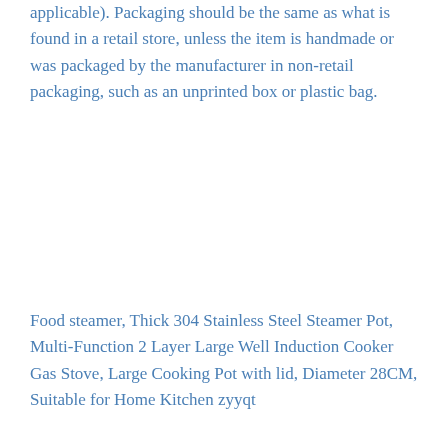applicable). Packaging should be the same as what is found in a retail store, unless the item is handmade or was packaged by the manufacturer in non-retail packaging, such as an unprinted box or plastic bag.
Food steamer, Thick 304 Stainless Steel Steamer Pot, Multi-Function 2 Layer Large Well Induction Cooker Gas Stove, Large Cooking Pot with lid, Diameter 28CM, Suitable for Home Kitchen zyyqt